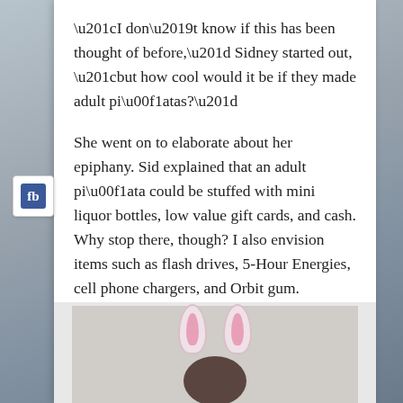“I don’t know if this has been thought of before,” Sidney started out, “but how cool would it be if they made adult piñatas?”
She went on to elaborate about her epiphany. Sid explained that an adult piñata could be stuffed with mini liquor bottles, low value gift cards, and cash. Why stop there, though? I also envision items such as flash drives, 5-Hour Energies, cell phone chargers, and Orbit gum.
[Figure (photo): Photo of a person wearing pink and white bunny ears on their head, partially visible from below.]